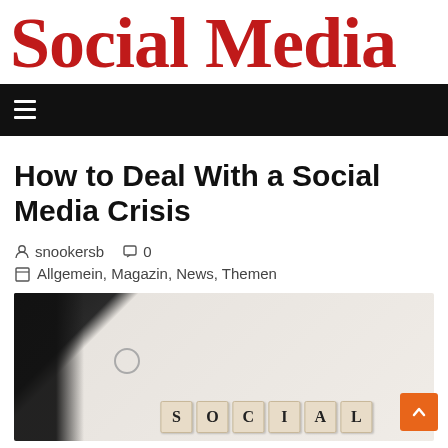Social Media
navigation bar with hamburger menu
How to Deal With a Social Media Crisis
snookersb   0
Allgemein, Magazin, News, Themen
[Figure (photo): Photo of a tablet device on a white marble surface with scrabble tiles spelling SOCIAL]